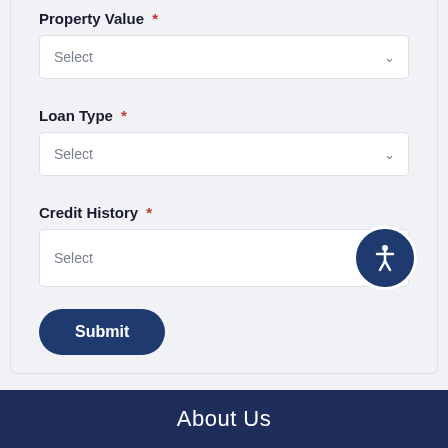Property Value *
[Figure (screenshot): Dropdown select box for Property Value field showing 'Select' placeholder with chevron arrow]
Loan Type *
[Figure (screenshot): Dropdown select box for Loan Type field showing 'Select' placeholder with chevron arrow]
Credit History *
[Figure (screenshot): Input box for Credit History showing 'Select' placeholder with accessibility button (person icon in dark blue circle) overlapping right side]
[Figure (screenshot): Dark navy 'Submit' button with rounded pill shape]
About Us